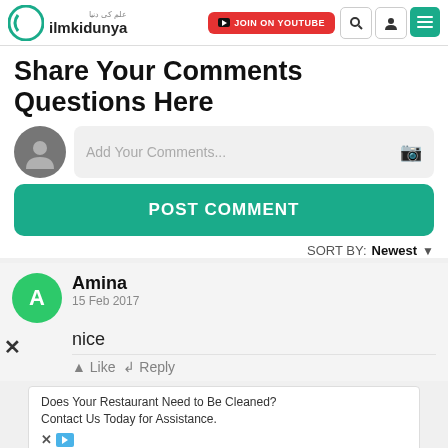ilmkidunya | JOIN ON YOUTUBE
Share Your Comments Questions Here
Add Your Comments...
POST COMMENT
SORT BY: Newest
Amina
15 Feb 2017
nice
Like  Reply
Does Your Restaurant Need to Be Cleaned? Contact Us Today for Assistance.